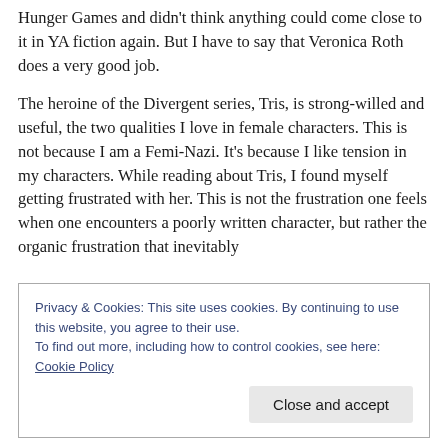Hunger Games and didn't think anything could come close to it in YA fiction again.  But I have to say that Veronica Roth does a very good job.
The heroine of the Divergent series, Tris, is strong-willed and useful, the two qualities I love in female characters.  This is not because I am a Femi-Nazi.  It's because I like tension in my characters.  While reading about Tris, I found myself getting frustrated with her.  This is not the frustration one feels when one encounters a poorly written character, but rather the organic frustration that inevitably
Privacy & Cookies: This site uses cookies. By continuing to use this website, you agree to their use.
To find out more, including how to control cookies, see here: Cookie Policy